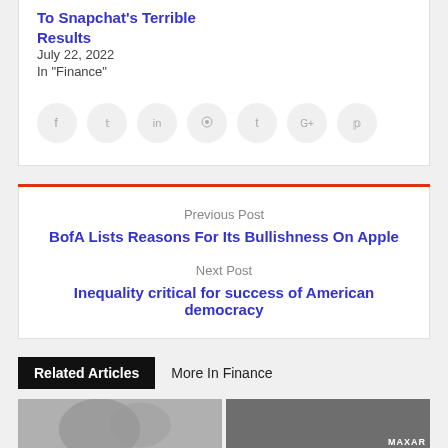To Snapchat's Terrible Results
July 22, 2022
In "Finance"
[Figure (other): Row of social media sharing icons: Facebook, Twitter, LinkedIn, Reddit, Tumblr, Google+, Pinterest]
Previous Post
BofA Lists Reasons For Its Bullishness On Apple
Next Post
Inequality critical for success of American democracy
Related Articles
More In Finance